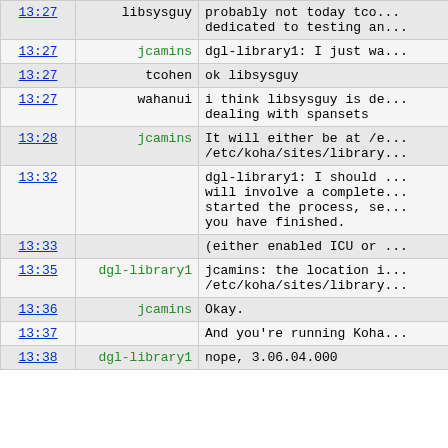| time | user | message |
| --- | --- | --- |
| 13:27 | libsysguy | probably not today tco... dedicated to testing an... |
| 13:27 | jcamins | dgl-library1: I just wa... |
| 13:27 | tcohen | ok libsysguy |
| 13:27 | wahanui | i think libsysguy is de... dealing with spansets |
| 13:28 | jcamins | It will either be at /e... /etc/koha/sites/library... |
| 13:32 |  | dgl-library1: I should ... will involve a complete... started the process, se... you have finished. |
| 13:33 |  | (either enabled ICU or ... |
| 13:35 | dgl-library1 | jcamins: the location i... /etc/koha/sites/library... |
| 13:36 | jcamins | Okay. |
| 13:37 |  | And you're running Koha... |
| 13:38 | dgl-library1 | nope, 3.06.04.000 |